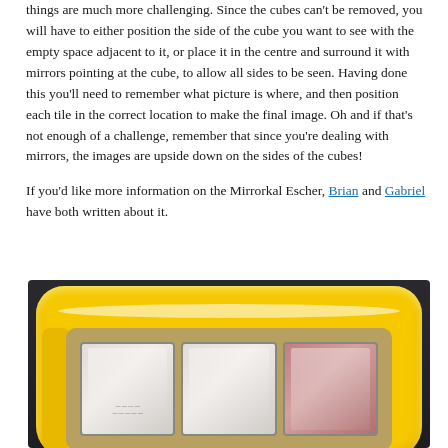things are much more challenging. Since the cubes can't be removed, you will have to either position the side of the cube you want to see with the empty space adjacent to it, or place it in the centre and surround it with mirrors pointing at the cube, to allow all sides to be seen. Having done this you'll need to remember what picture is where, and then position each tile in the correct location to make the final image. Oh and if that's not enough of a challenge, remember that since you're dealing with mirrors, the images are upside down on the sides of the cubes!
If you'd like more information on the Mirrorkal Escher, Brian and Gabriel have both written about it.
[Figure (photo): A yellow rounded rectangular puzzle/game box viewed from above, showing a yellow plastic frame with white stripe detail and an inner tray containing three mirror-like rectangular cells — two lighter/white and one pink/reddish — arranged side by side.]